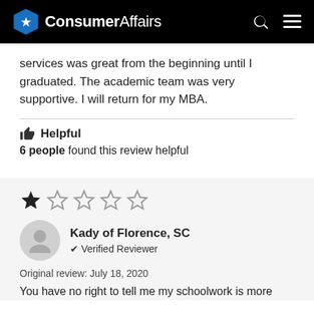ConsumerAffairs
services was great from the beginning until I graduated. The academic team was very supportive. I will return for my MBA.
Helpful
6 people found this review helpful
[Figure (other): 1 out of 5 stars rating — one filled star followed by four empty stars]
Kady of Florence, SC
✔ Verified Reviewer
Original review: July 18, 2020
You have no right to tell me my schoolwork is more